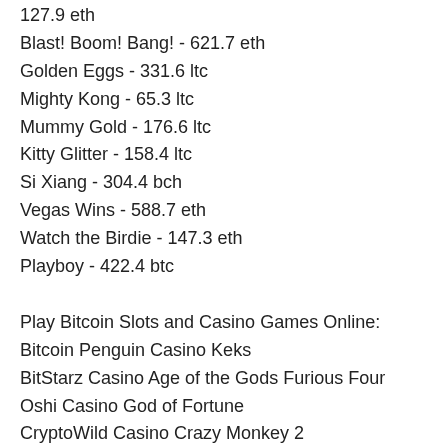127.9 eth
Blast! Boom! Bang! - 621.7 eth
Golden Eggs - 331.6 ltc
Mighty Kong - 65.3 ltc
Mummy Gold - 176.6 ltc
Kitty Glitter - 158.4 ltc
Si Xiang - 304.4 bch
Vegas Wins - 588.7 eth
Watch the Birdie - 147.3 eth
Playboy - 422.4 btc
Play Bitcoin Slots and Casino Games Online:
Bitcoin Penguin Casino Keks
BitStarz Casino Age of the Gods Furious Four
Oshi Casino God of Fortune
CryptoWild Casino Crazy Monkey 2
22Bet Casino Merlin's Magic Respins
Diamond Reels Casino Fort Brave